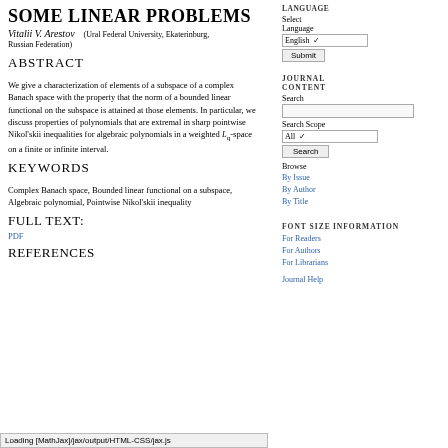SOME LINEAR PROBLEMS
Vitalii V. Arestov   (Ural Federal University, Ekaterinburg, Russian Federation)
ABSTRACT
We give a characterization of elements of a subspace of a complex Banach space with the property that the norm of a bounded linear functional on the subspace is attained at those elements. In particular, we discuss properties of polynomials that are extremal in sharp pointwise Nikol'skii inequalities for algebraic polynomials in a weighted L_q-space on a finite or infinite interval.
KEYWORDS
Complex Banach space, Bounded linear functional on a subspace, Algebraic polynomial, Pointwise Nikol'skii inequality
FULL TEXT:
PDF
REFERENCES
Select Language
English
Submit
JOURNAL CONTENT
Search
Search Scope
All
Search
Browse
By Issue
By Author
By Title
FONT SIZE
INFORMATION
For Readers
For Authors
For Librarians
Journal Help
Loading [MathJax]/jax/output/HTML-CSS/jax.js